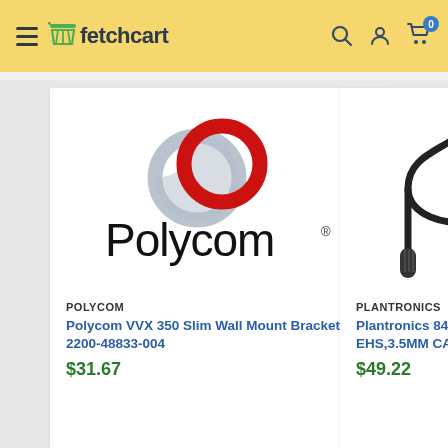fetchcart
[Figure (logo): Polycom logo with two interlocking rings (red and gray) above text 'Polycom']
POLYCOM
Polycom VVX 350 Slim Wall Mount Bracket - 2200-48833-004
$31.67
[Figure (photo): Plantronics 3.5mm cable with right-angle connector photographed on white background]
PLANTRONICS
Plantronics 84757-01 EHS,3.5MM CABLE
$49.22